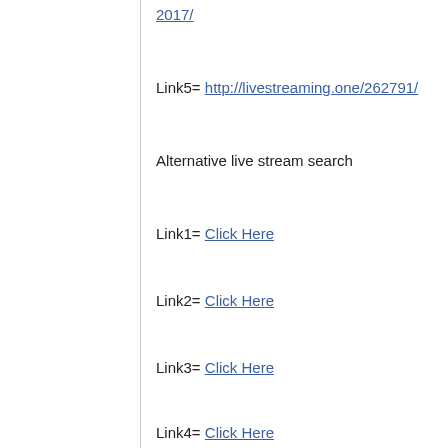2017/
Link5= http://livestreaming.one/262791/
Alternative live stream search
Link1= Click Here
Link2= Click Here
Link3= Click Here
Link4= Click Here
Link5= Click Here
Other matches: